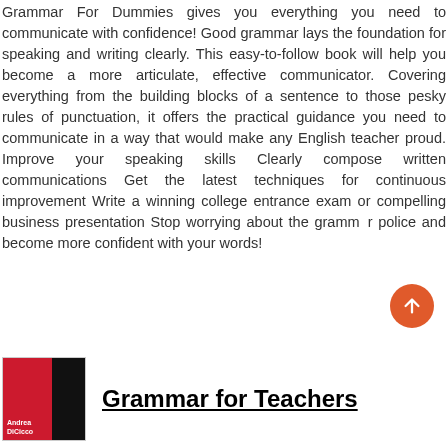Grammar For Dummies gives you everything you need to communicate with confidence! Good grammar lays the foundation for speaking and writing clearly. This easy-to-follow book will help you become a more articulate, effective communicator. Covering everything from the building blocks of a sentence to those pesky rules of punctuation, it offers the practical guidance you need to communicate in a way that would make any English teacher proud. Improve your speaking skills Clearly compose written communications Get the latest techniques for continuous improvement Write a winning college entrance exam or compelling business presentation Stop worrying about the grammar police and become more confident with your words!
[Figure (illustration): Book cover with red and black sections, small author name text in white on red section]
Grammar for Teachers